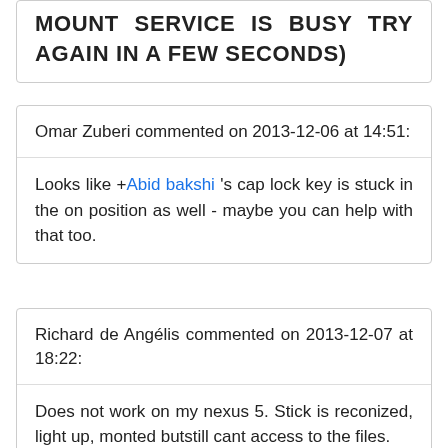MOUNT SERVICE IS BUSY TRY AGAIN IN A FEW SECONDS)
Omar Zuberi commented on 2013-12-06 at 14:51:
Looks like +Abid bakshi 's cap lock key is stuck in the on position as well - maybe you can help with that too.
Richard de Angélis commented on 2013-12-07 at 18:22:
Does not work on my nexus 5. Stick is reconized, light up, monted butstill cant access to the files.